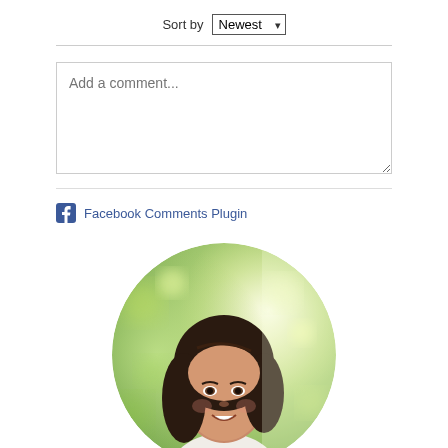Sort by Newest
Add a comment...
Facebook Comments Plugin
[Figure (photo): Circular cropped portrait photo of a smiling woman with dark hair, standing outdoors with a blurred green bokeh background and sunlight.]